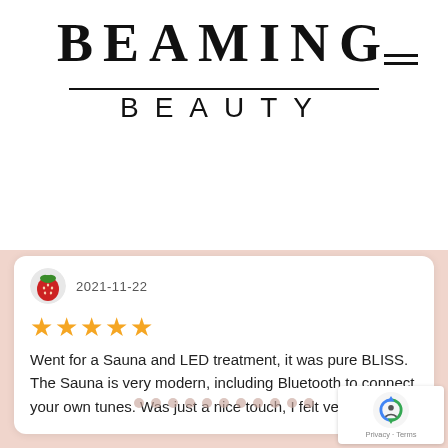BEAMING BEAUTY
[Figure (screenshot): User avatar: small circular icon with strawberry/fruit image]
2021-11-22
[Figure (other): Five gold star rating]
Went for a Sauna and LED treatment, it was pure BLISS. The Sauna is very modern, including Bluetooth to connect your own tunes. Was just a nice touch, I felt very taken
[Figure (other): Pagination dots row]
[Figure (logo): Google reCAPTCHA badge, Privacy - Terms]